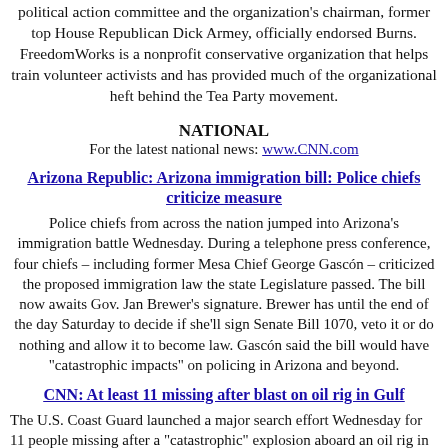political action committee and the organization's chairman, former top House Republican Dick Armey, officially endorsed Burns. FreedomWorks is a nonprofit conservative organization that helps train volunteer activists and has provided much of the organizational heft behind the Tea Party movement.
NATIONAL
For the latest national news: www.CNN.com
Arizona Republic: Arizona immigration bill: Police chiefs criticize measure
Police chiefs from across the nation jumped into Arizona's immigration battle Wednesday. During a telephone press conference, four chiefs – including former Mesa Chief George Gascón – criticized the proposed immigration law the state Legislature passed. The bill now awaits Gov. Jan Brewer's signature. Brewer has until the end of the day Saturday to decide if she'll sign Senate Bill 1070, veto it or do nothing and allow it to become law. Gascón said the bill would have "catastrophic impacts" on policing in Arizona and beyond.
CNN: At least 11 missing after blast on oil rig in Gulf
The U.S. Coast Guard launched a major search effort Wednesday for 11 people missing after a "catastrophic" explosion aboard an oil rig in the Gulf of Mexico engulfed the drilling platform in flames. Another 17 people were injured - three critically - in the blast.